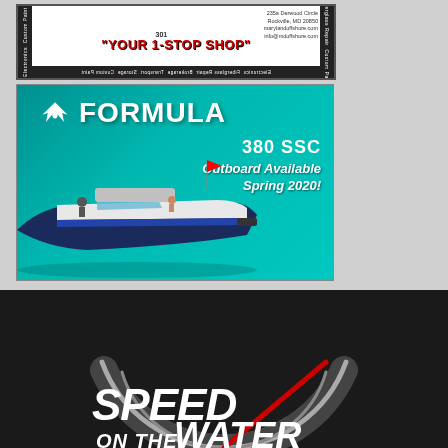[Figure (illustration): Maryland Offshore advertisement with red slogan 'YOUR 1-STOP SHOP', contact info: 235a Derwood Circle, Rockville, MD 20850, marylandoffshore.com, info@mdoffshore.com. Black side bars with text: Electronics, Fiberglass Repair, Brokerage, Transport, Storage, Custom Paint.]
[Figure (illustration): Formula Boats advertisement showing a white and blue Formula 380 SSC sport boat on teal water. White Formula logo (eagle crest) and FORMULA text in top left. Text reads: 380 SSC, Outboard Available Spring 2020!]
[Figure (logo): Speed on the Water logo on dark/black background. Large bold white italic text 'SPEED ON THE WATER' with a speedometer arc graphic in silver/white with a red needle accent.]